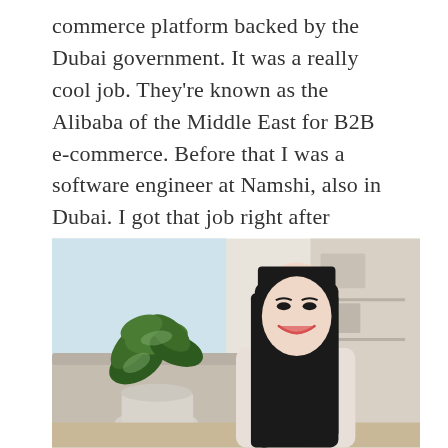commerce platform backed by the Dubai government. It was a really cool job. They're known as the Alibaba of the Middle East for B2B e-commerce. Before that I was a software engineer at Namshi, also in Dubai. I got that job right after graduation thanks to a recommendation from another alumni who was there.
[Figure (photo): A smiling young woman with long dark hair and bangs, seated indoors next to a potted leafy plant, wearing a light-colored top. Bright window visible in the background.]